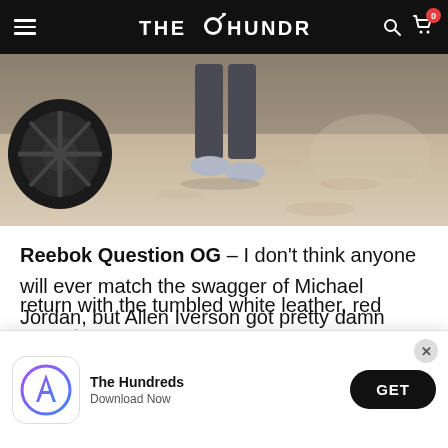THE HUNDREDS
[Figure (photo): Person standing near a car wheel on sandy ground, wearing grey joggers and light blue sneakers. Sepia-toned lifestyle photo.]
Reebok Question OG – I don't think anyone will ever match the swagger of Michael Jordan, but Allen Iverson got pretty damn close. AI would skip practice, but still have handles that could break Jordan's ankles. It was always a mystery why Iverson signed ... return with the tumbled white leather, red accent,
[Figure (screenshot): App download banner: The Hundreds app icon (App Store logo), text 'The Hundreds / Download Now', and a black GET button. Close (×) button in top-right corner.]